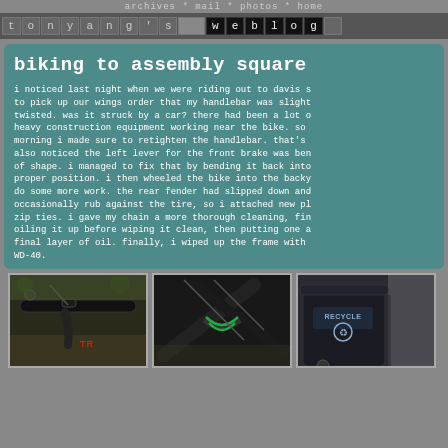archives * mail * photos * home
tony yang's weblog
biking to assembly square
i noticed last night when we were riding out to davis s to pick up our wings order that my handlebar was slight twisted. was it struck by a car? there had been a lot o heavy construction equipment working near the bike. so morning i made sure to retighten the handlebar. that's also noticed the left lever for the front brake was ben of shape. i managed to fix that by bending it back into proper position. i then wheeled the bike into the back do some more work. the rear fender had slipped down an occasionally rub against the tire, so i attached new p zip ties. i gave my chain a more thorough cleaning, fi oiling it up before wiping it clean, then putting one final layer of oil. finally, i wiped up the frame with WD-40.
[Figure (photo): Close-up photo of bicycle handlebar and brake lever, showing a red bike logo]
[Figure (photo): Close-up photo of bicycle frame with green zip ties attaching a fender]
[Figure (photo): Photo of a dark recycling bin with RECYCLE label and recycling symbol]